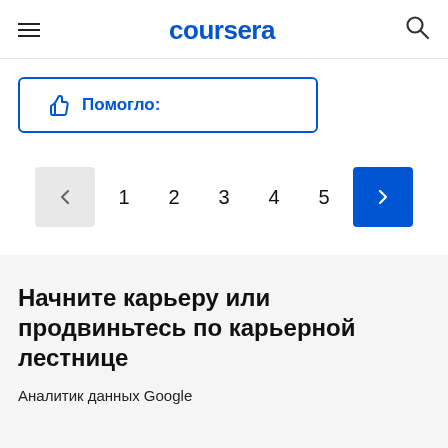coursera
[Figure (other): Thumbs up button with label 'Помогло:' in blue, bordered box]
[Figure (other): Pagination control with prev arrow (grey), page numbers 1 2 3 4 5, next arrow (blue)]
Начните карьеру или продвиньтесь по карьерной лестнице
Аналитик данных Google